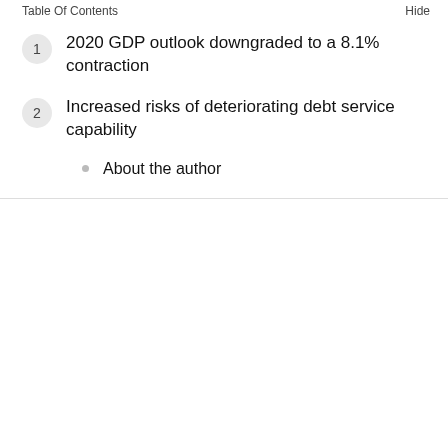Table Of Contents    Hide
1  2020 GDP outlook downgraded to a 8.1% contraction
2  Increased risks of deteriorating debt service capability
About the author